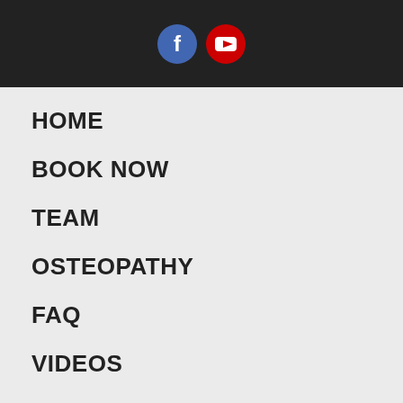[Figure (other): Dark header bar with Facebook (blue circle with f) and YouTube (red circle with play button) social media icons]
HOME
BOOK NOW
TEAM
OSTEOPATHY
FAQ
VIDEOS